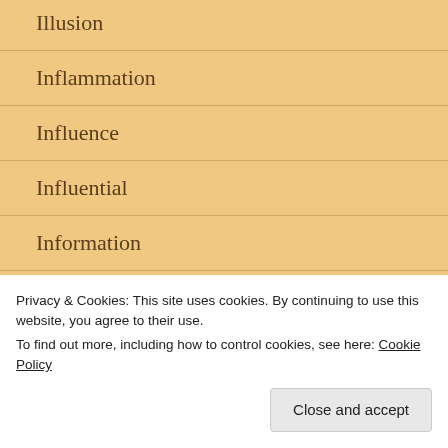Illusion
Inflammation
Influence
Influential
Information
Inner Confidence
Privacy & Cookies: This site uses cookies. By continuing to use this website, you agree to their use.
To find out more, including how to control cookies, see here: Cookie Policy
Close and accept